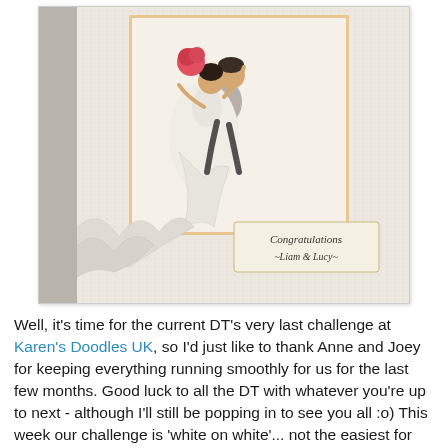[Figure (photo): A handmade wedding card showing a cartoon bride and groom illustration. The bride is wearing a flowing white dress and the groom is holding her. The card has a cream/ivory textured background with embossed details. A small label on the card reads 'Congratulations -Liam & Lucy-'.]
Well, it's time for the current DT's very last challenge at Karen's Doodles UK, so I'd just like to thank Anne and Joey for keeping everything running smoothly for us for the last few months.  Good luck to all the DT with whatever you're up to next - although I'll still be popping in to see you all :o)  This week our challenge is 'white on white'... not the easiest for me, but I needed a card for a wedding we're going to on